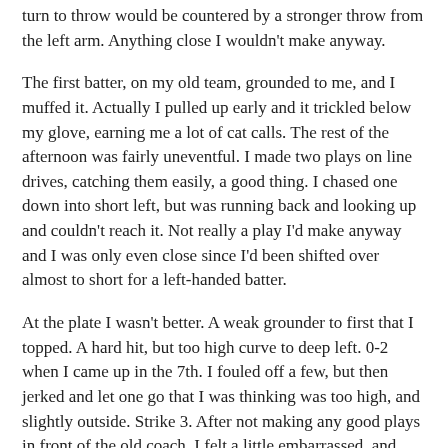turn to throw would be countered by a stronger throw from the left arm. Anything close I wouldn't make anyway.
The first batter, on my old team, grounded to me, and I muffed it. Actually I pulled up early and it trickled below my glove, earning me a lot of cat calls. The rest of the afternoon was fairly uneventful. I made two plays on line drives, catching them easily, a good thing. I chased one down into short left, but was running back and looking up and couldn't reach it. Not really a play I'd make anyway and I was only even close since I'd been shifted over almost to short for a left-handed batter.
At the plate I wasn't better. A weak grounder to first that I topped. A hard hit, but too high curve to deep left. 0-2 when I came up in the 7th. I fouled off a few, but then jerked and let one go that I was thinking was too high, and slightly outside. Strike 3. After not making any good plays in front of the old coach, I felt a little embarrassed, and disappointed a lot.
I got a grounder in the bottom of the 7th, 2 outs, and threw too far on the left to first. I'd been pulling the person over